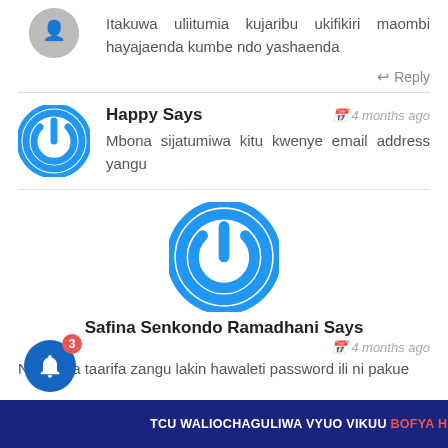Itakuwa uliitumia kujaribu ukifikiri maombi hayajaenda kumbe ndo yashaenda
↩ Reply
Happy Says
4 months ago
Mbona sijatumiwa kitu kwenye email address yangu
Safina Senkondo Ramadhani Says
4 months ago
Nimejaza taarifa zangu lakin hawaleti password ili ni pakue
TCU WALIOCHAGULIWA VYUO VIKUU BOFYA HAPA ×